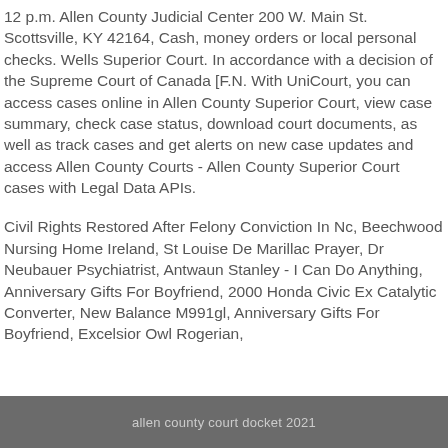12 p.m. Allen County Judicial Center 200 W. Main St. Scottsville, KY 42164, Cash, money orders or local personal checks. Wells Superior Court. In accordance with a decision of the Supreme Court of Canada [F.N. With UniCourt, you can access cases online in Allen County Superior Court, view case summary, check case status, download court documents, as well as track cases and get alerts on new case updates and access Allen County Courts - Allen County Superior Court cases with Legal Data APIs.
Civil Rights Restored After Felony Conviction In Nc, Beechwood Nursing Home Ireland, St Louise De Marillac Prayer, Dr Neubauer Psychiatrist, Antwaun Stanley - I Can Do Anything, Anniversary Gifts For Boyfriend, 2000 Honda Civic Ex Catalytic Converter, New Balance M991gl, Anniversary Gifts For Boyfriend, Excelsior Owl Rogerian,
allen county court docket 2021